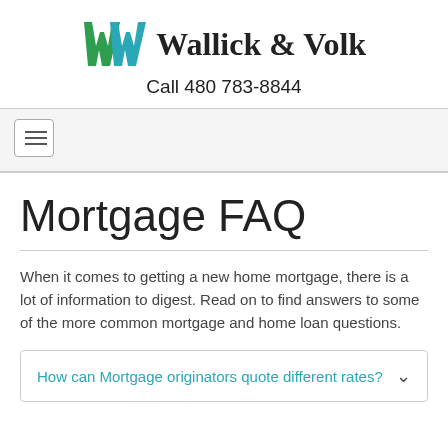Wallick & Volk — Call 480 783-8844
[Figure (logo): Wallick & Volk logo with stylized WV monogram in green and teal colors, followed by company name in serif font]
Call 480 783-8844
Mortgage FAQ
When it comes to getting a new home mortgage, there is a lot of information to digest. Read on to find answers to some of the more common mortgage and home loan questions.
How can Mortgage originators quote different rates?